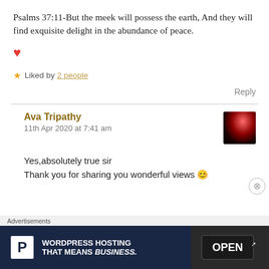Psalms 37:11-But the meek will possess the earth, And they will find exquisite delight in the abundance of peace. ❤
★ Liked by 2 people
Reply
Ava Tripathy
11th Apr 2020 at 7:41 am
Yes,absolutely true sir
Thank you for sharing you wonderful views 😊
[Figure (photo): Small avatar thumbnail showing a dark silhouette against a reddish background]
Advertisements
WORDPRESS HOSTING THAT MEANS BUSINESS.